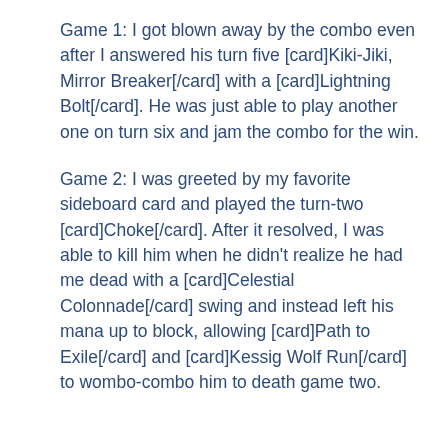Game 1: I got blown away by the combo even after I answered his turn five [card]Kiki-Jiki, Mirror Breaker[/card] with a [card]Lightning Bolt[/card]. He was just able to play another one on turn six and jam the combo for the win.
Game 2: I was greeted by my favorite sideboard card and played the turn-two [card]Choke[/card]. After it resolved, I was able to kill him when he didn't realize he had me dead with a [card]Celestial Colonnade[/card] swing and instead left his mana up to block, allowing [card]Path to Exile[/card] and [card]Kessig Wolf Run[/card] to wombo-combo him to death game two.